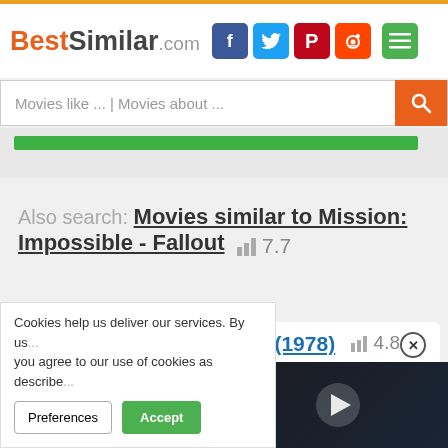BestSimilar.com — navigation header with social icons
Movies like ... | Movies about ...
[Figure (other): Green progress bar]
Also search: Movies similar to Mission: Impossible - Fallout  7.7
Way of the Black Dragon (1978)
4.8
[Figure (screenshot): Video thumbnail showing a nighttime street scene with a play button overlay]
Cookies help us deliver our services. By us... you agree to our use of cookies as describe...
Preferences  Accept